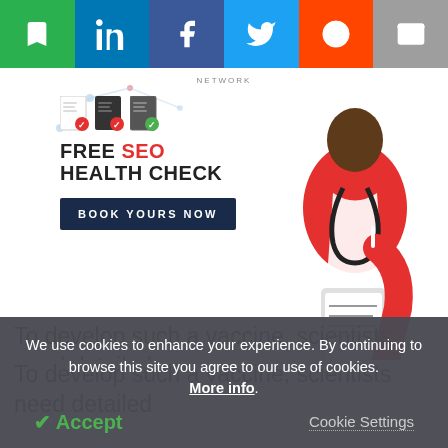[Figure (screenshot): Social sharing bar with bookmark, LinkedIn, Facebook, Twitter, Reddit, and email buttons]
[Figure (infographic): Advertisement banner: FREE SEO HEALTH CHECK with BOOK YOURS NOW button and doctor illustration]
ADVERTISEMENT
To develop such a vaccine, scientists need detailed
We use cookies to enhance your experience. By continuing to browse this site you agree to our use of cookies. More info.
Accept
Cookie Settings